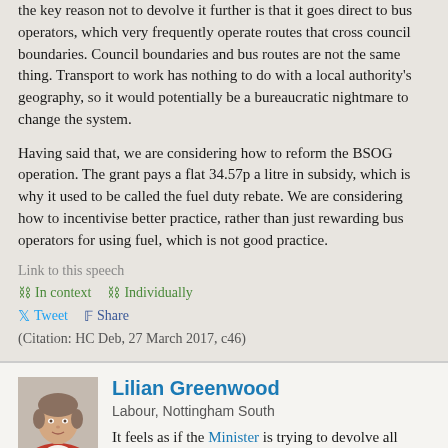the key reason not to devolve it further is that it goes direct to bus operators, which very frequently operate routes that cross council boundaries. Council boundaries and bus routes are not the same thing. Transport to work has nothing to do with a local authority's geography, so it would potentially be a bureaucratic nightmare to change the system.
Having said that, we are considering how to reform the BSOG operation. The grant pays a flat 34.57p a litre in subsidy, which is why it used to be called the fuel duty rebate. We are considering how to incentivise better practice, rather than just rewarding bus operators for using fuel, which is not good practice.
Link to this speech
In context   Individually
Tweet   Share
(Citation: HC Deb, 27 March 2017, c46)
Lilian Greenwood
Labour, Nottingham South
It feels as if the Minister is trying to devolve all responsibility